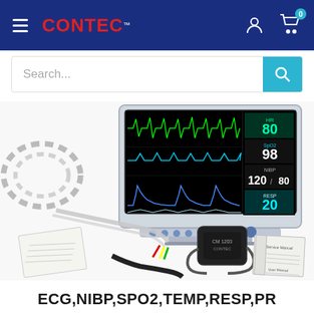CONTEC™ — Navigation bar with hamburger menu, logo, user icon, and cart (0)
Search...
[Figure (photo): CONTEC patient monitor displaying ECG, SpO2 (98), NIBP (120/80), respiration (20), and heart rate (80) on a black screen with waveforms. Below the monitor are accessories: ECG cables, NIBP cuff (CM1203), power cable, user manual, and other documents arranged on a white background.]
ECG,NIBP,SPO2,TEMP,RESP,PR